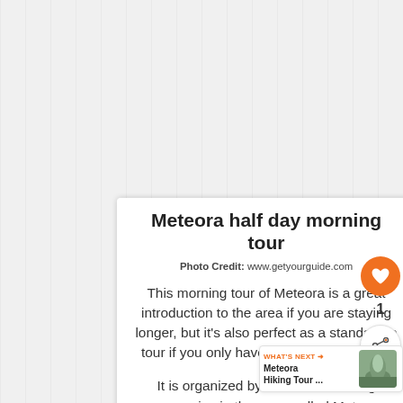Meteora half day morning tour
Photo Credit: www.getyourguide.com
This morning tour of Meteora is a great introduction to the area if you are staying longer, but it's also perfect as a standalone tour if you only have one day in the area.
It is organized by one of the leading companies in the area, called Meteora Thrones. I have personal experience with the company, and they are great!